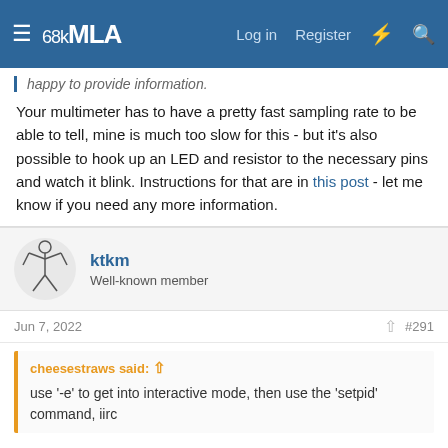68kMLA — Log in   Register
happy to provide information.
Your multimeter has to have a pretty fast sampling rate to be able to tell, mine is much too slow for this - but it's also possible to hook up an LED and resistor to the necessary pins and watch it blink. Instructions for that are in this post - let me know if you need any more information.
ktkm
Well-known member
Jun 7, 2022  #291
cheesestraws said:
use '-e' to get into interactive mode, then use the 'setpid' command, iirc
Ahhh, now I figured it out! I was a little confused because the first partition id shows up as "DOS_FAT_12" whereas the others